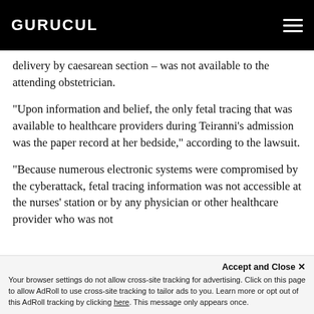GURUCUL
delivery by caesarean section – was not available to the attending obstetrician.
“Upon information and belief, the only fetal tracing that was available to healthcare providers during Teiranni’s admission was the paper record at her bedside,” according to the lawsuit.
“Because numerous electronic systems were compromised by the cyberattack, fetal tracing information was not accessible at the nurses’ station or by any physician or other healthcare provider who was not
Accept and Close × Your browser settings do not allow cross-site tracking for advertising. Click on this page to allow AdRoll to use cross-site tracking to tailor ads to you. Learn more or opt out of this AdRoll tracking by clicking here. This message only appears once.